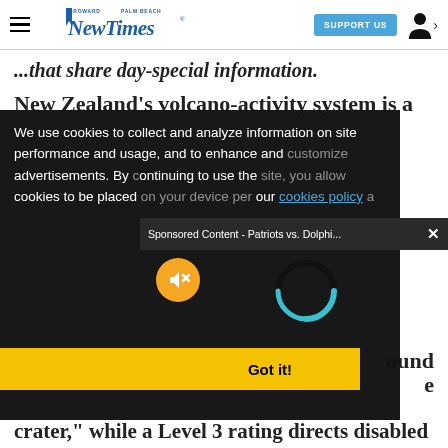Broward Palm Beach New Times — SUPPORT US
...that share day-special information.
New Zealand's volcano-activity system is a
[Figure (screenshot): Cookie consent overlay on black background with text: We use cookies to collect and analyze information on site performance and usage, and to enhance and [customize] advertisements. By [continuing] to use the [site you allow] cookies to be placed [on your device per] our cookies policy a[nd privacy policy]. Got it! button. Sponsored Content - Patriots vs. Dolphi... banner with X close button. Muted speaker icon button (orange circle). Loading spinner (teal arc).]
ound
e
crater," while a Level 3 rating directs disabled